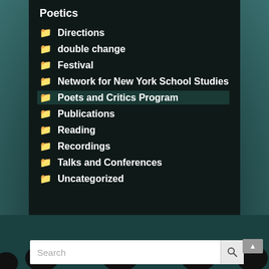Poetics
Directions
double change
Festival
Network for New York School Studies
Poets and Critics Program
Publications
Reading
Recordings
Talks and Conferences
Uncategorized
Search